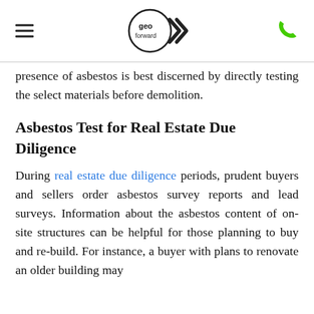geo forward [logo] [phone icon]
presence of asbestos is best discerned by directly testing the select materials before demolition.
Asbestos Test for Real Estate Due Diligence
During real estate due diligence periods, prudent buyers and sellers order asbestos survey reports and lead surveys. Information about the asbestos content of on-site structures can be helpful for those planning to buy and re-build. For instance, a buyer with plans to renovate an older building may